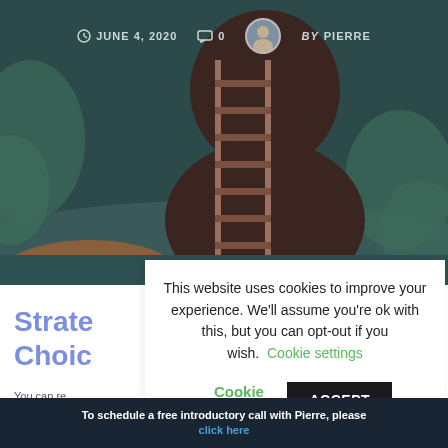JUNE 4, 2020   0   BY PIERRE
[Figure (illustration): Decorative illustration showing a dark silhouette of a person's head with a ladder inside, surrounded by teal/green foliage on a dark teal background]
Strate... Choic...
This website uses cookies to improve your experience. We'll assume you're ok with this, but you can opt-out if you wish. Cookie settings  ACCEPT
To schedule a free introductory call with Pierre, please click here